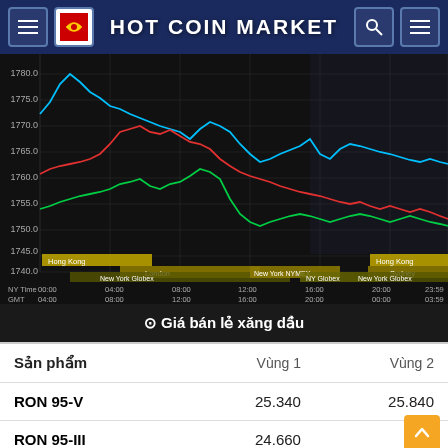HOT COIN MARKET
[Figure (continuous-plot): Multi-line time series chart showing gold/commodity prices across trading sessions (Hong Kong, London, New York Globex, New York NYMEX, NY Globex, Sydney). Three colored lines (cyan, red, green) plotted over time from 00:00 to 23:59 NY Time / 04:00 to 03:59 GMT. Y-axis ranges from 1740.0 to 1780.0. Session labels shown at bottom including Hong Kong, London, New York Globex, New York NYMEX, NY Globex, Sydney.]
⊙ Giá bán lẻ xăng dầu
| Sản phẩm | Vùng 1 | Vùng 2 |
| --- | --- | --- |
| RON 95-V | 25.340 | 25.840 |
| RON 95-III | 24.660 | 25... |
[Figure (other): Orange scroll-to-top button with upward chevron arrow]